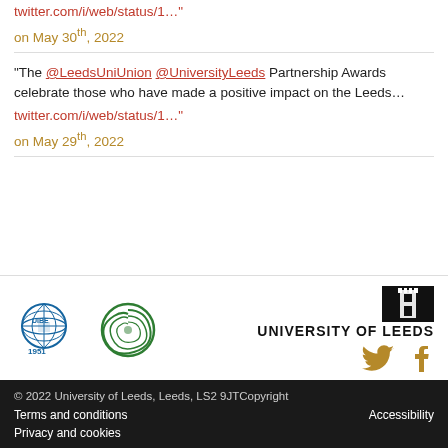twitter.com/i/web/status/1…"
on May 30th, 2022
"The @LeedsUniUnion @UniversityLeeds Partnership Awards celebrate those who have made a positive impact on the Leeds…
twitter.com/i/web/status/1…"
on May 29th, 2022
[Figure (logo): UIBE 1951 globe logo and circular green logo on left; University of Leeds building logo and text on right]
[Figure (logo): Twitter and Facebook social media icons in gold/brown color]
© 2022 University of Leeds, Leeds, LS2 9JTCopyright
Terms and conditions   Accessibility
Privacy and cookies